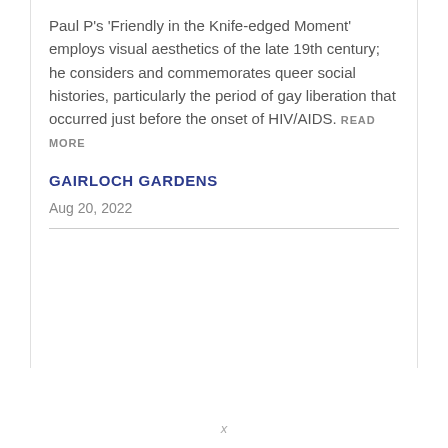Paul P's 'Friendly in the Knife-edged Moment' employs visual aesthetics of the late 19th century; he considers and commemorates queer social histories, particularly the period of gay liberation that occurred just before the onset of HIV/AIDS. READ MORE
GAIRLOCH GARDENS
Aug 20, 2022